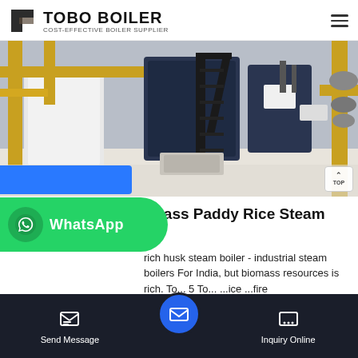TOBO BOILER — COST-EFFECTIVE BOILER SUPPLIER
[Figure (photo): Industrial boiler facility interior showing large yellow pipes, black metal staircase, and dark blue boiler vessels with fittings in a clean white industrial space]
Industrial 5 Ton Biomass Paddy Rice Steam Boiler
rich husk steam boiler - industrial steam boilers For India, but biomass resources is rich. To... 5 To... ...ice ...fire
Send Message | Inquiry Online